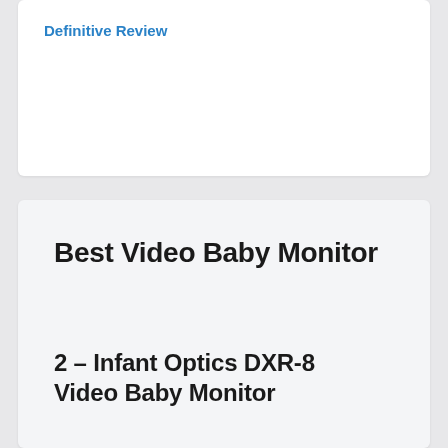Definitive Review
Best Video Baby Monitor
2 – Infant Optics DXR-8 Video Baby Monitor
[Figure (logo): Editors' Choice award badge with red background and baby graphic]